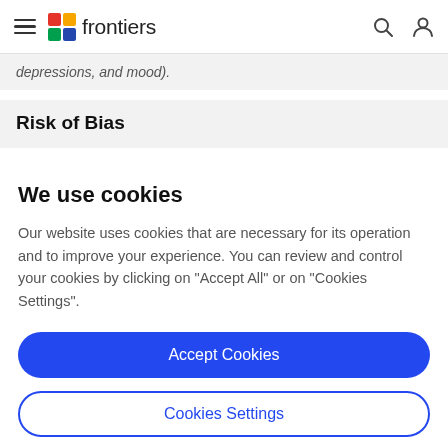frontiers
depressions, and mood).
Risk of Bias
We use cookies
Our website uses cookies that are necessary for its operation and to improve your experience. You can review and control your cookies by clicking on "Accept All" or on "Cookies Settings".
Accept Cookies
Cookies Settings